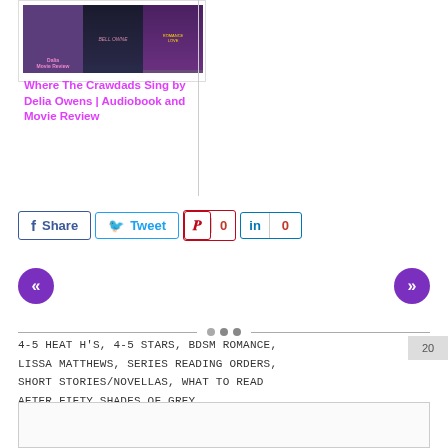[Figure (photo): Book/movie covers for Where The Crawdads Sing]
Where The Crawdads Sing by Delia Owens | Audiobook and Movie Review
Share  Tweet  0  0
[Figure (other): Left navigation arrow (previous)]
[Figure (other): Right navigation arrow (next)]
4-5 HEAT H'S, 4-5 STARS, BDSM ROMANCE, LISSA MATTHEWS, SERIES READING ORDERS, SHORT STORIES/NOVELLAS, WHAT TO READ AFTER FIFTY SHADES OF GREY
20